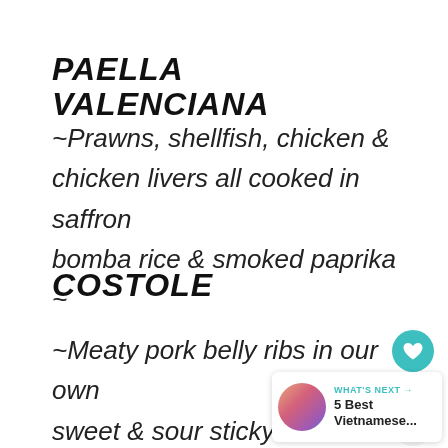PAELLA VALENCIANA
~Prawns, shellfish, chicken & chicken livers all cooked in saffron bomba rice & smoked paprika ~
COSTOLE
~Meaty pork belly ribs in our own sweet & sour sticky sauce~